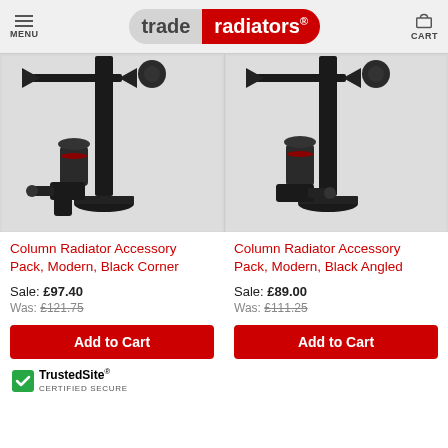MENU | trade radiators® | CART
[Figure (photo): Two product photos side by side showing black column radiator accessory packs with valves, corner connectors, and floor mounting hardware against white background]
Column Radiator Accessory Pack, Modern, Black Corner
Sale: £97.40
Was: £121.75
Column Radiator Accessory Pack, Modern, Black Angled
Sale: £89.00
Was: £111.25
Add to Cart
Add to Cart
TrustedSite® CERTIFIED SECURE